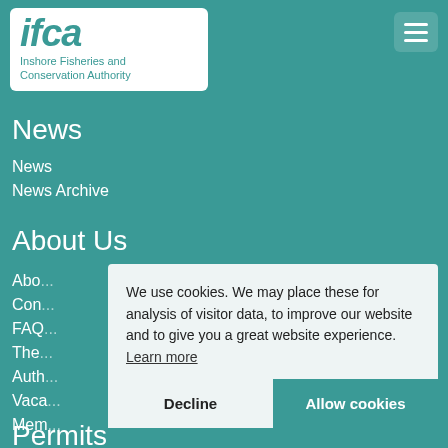[Figure (logo): IFCA logo — Inshore Fisheries and Conservation Authority, teal letters on white rounded rectangle]
News
News
News Archive
About Us
Abou...
Con...
FAQ...
The...
Auth...
Vaca...
Mem...
We use cookies. We may place these for analysis of visitor data, to improve our website and to give you a great website experience. Learn more
Permits